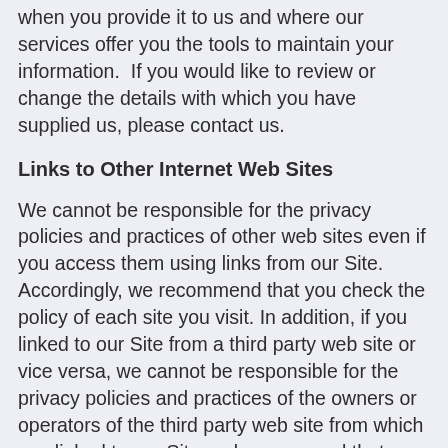when you provide it to us and where our services offer you the tools to maintain your information.  If you would like to review or change the details with which you have supplied us, please contact us.
Links to Other Internet Web Sites
We cannot be responsible for the privacy policies and practices of other web sites even if you access them using links from our Site. Accordingly, we recommend that you check the policy of each site you visit. In addition, if you linked to our Site from a third party web site or vice versa, we cannot be responsible for the privacy policies and practices of the owners or operators of the third party web site from which you linked to our Site and recommend that you check the policy of that third party web site and contact the owner or operator of such web site if you have any concerns of questions. Our Privacy Policy applies only to